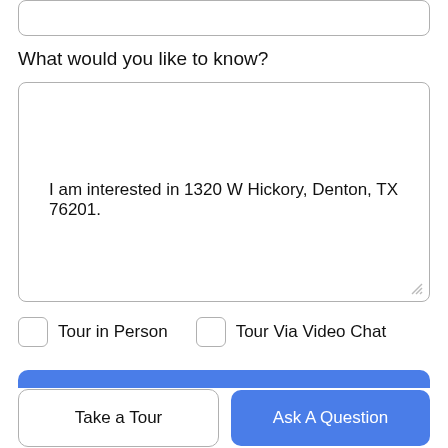What would you like to know?
I am interested in 1320 W Hickory, Denton, TX 76201.
Tour in Person
Tour Via Video Chat
Submit
Disclaimer: By entering your information and submitting this form, you agree to our Terms of Use and Privacy Policy and that you may be contacted by
Take a Tour
Ask A Question